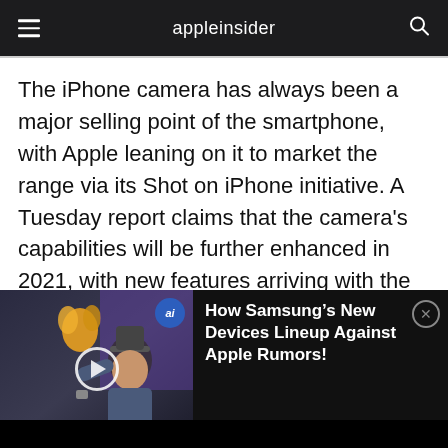appleinsider
The iPhone camera has always been a major selling point of the smartphone, with Apple leaning on it to market the range via its Shot on iPhone initiative. A Tuesday report claims that the camera's capabilities will be further enhanced in 2021, with new features arriving with the "iPhone 13" range.
The biggest enhancement to the camera will be a modified Portrait mode, according to
[Figure (screenshot): Video thumbnail overlay bar showing a man at Galaxy Unpacked '22 event with play button, ai badge, and headline: How Samsung’s New Devices Lineup Against Apple Rumors!]